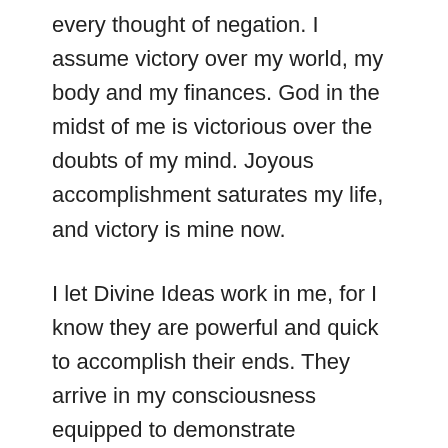every thought of negation.  I assume victory over my world, my body and my finances.  God in the midst of me is victorious over the doubts of my mind.  Joyous accomplishment saturates my life, and victory is mine now.
I let Divine Ideas work in me, for I know they are powerful and quick to accomplish their ends.  They arrive in my consciousness equipped to demonstrate themselves, and I give them my loving attention.  God's Ideas functioning within me are my only source of power, health and peace. These alone make my life victorious and undaunted.  I meet every hour of this day with a